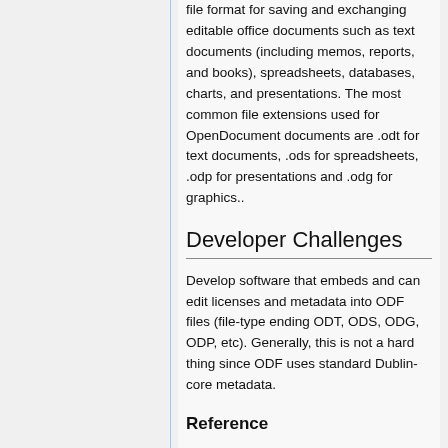file format for saving and exchanging editable office documents such as text documents (including memos, reports, and books), spreadsheets, databases, charts, and presentations. The most common file extensions used for OpenDocument documents are .odt for text documents, .ods for spreadsheets, .odp for presentations and .odg for graphics..
Developer Challenges
Develop software that embeds and can edit licenses and metadata into ODF files (file-type ending ODT, ODS, ODG, ODP, etc). Generally, this is not a hard thing since ODF uses standard Dublin-core metadata.
Reference